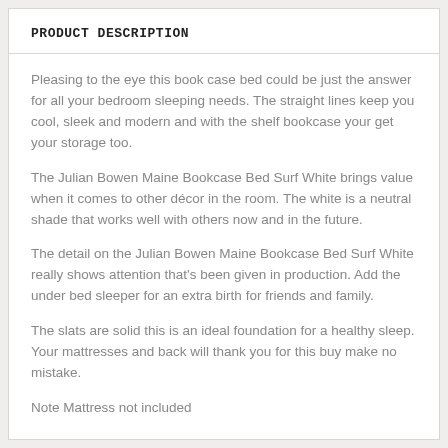PRODUCT DESCRIPTION
Pleasing to the eye this book case bed could be just the answer for all your bedroom sleeping needs. The straight lines keep you cool, sleek and modern and with the shelf bookcase your get your storage too.
The Julian Bowen Maine Bookcase Bed Surf White brings value when it comes to other décor in the room. The white is a neutral shade that works well with others now and in the future.
The detail on the Julian Bowen Maine Bookcase Bed Surf White really shows attention that's been given in production. Add the under bed sleeper for an extra birth for friends and family.
The slats are solid this is an ideal foundation for a healthy sleep. Your mattresses and back will thank you for this buy make no mistake.
Note Mattress not included